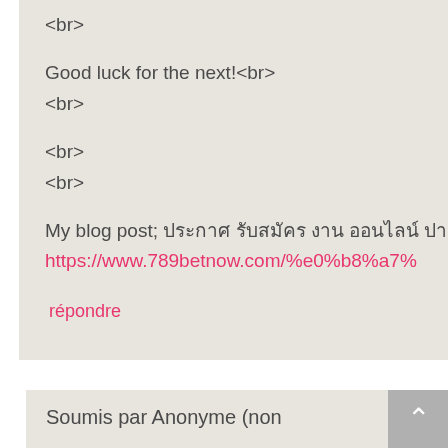<br>
Good luck for the next!<br>
<br>
<br>
<br>
My blog post; ประกาศ รับสมัคร งาน ออนไลน์ pantip - https://www.789betnow.com/%e0%b8%a7%...
répondre
Soumis par Anonyme (non